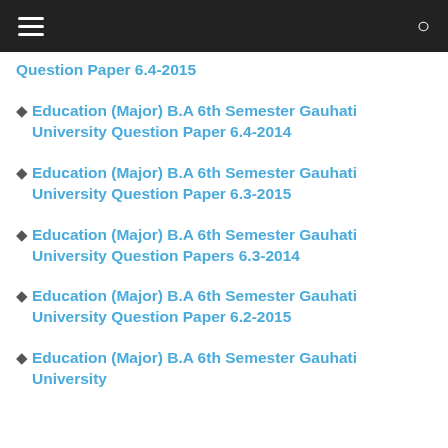[Figure (screenshot): Mobile app top navigation bar with hamburger menu icon on left and search icon on right, dark background]
Question Paper 6.4-2015
Education (Major) B.A 6th Semester Gauhati University Question Paper 6.4-2014
Education (Major) B.A 6th Semester Gauhati University Question Paper 6.3-2015
Education (Major) B.A 6th Semester Gauhati University Question Papers 6.3-2014
Education (Major) B.A 6th Semester Gauhati University Question Paper 6.2-2015
Education (Major) B.A 6th Semester Gauhati University